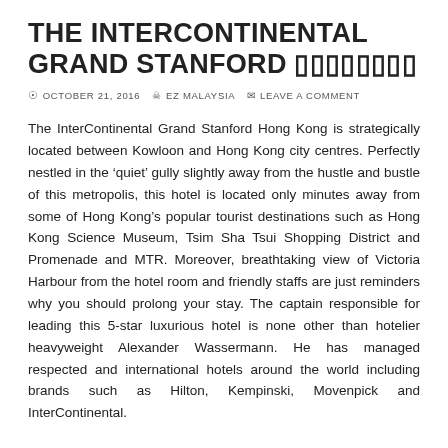THE INTERCONTINENTAL GRAND STANFORD ▯▯▯▯▯▯▯▯
⊙ OCTOBER 21, 2016   ▲ EZ MALAYSIA   ▲ LEAVE A COMMENT
The InterContinental Grand Stanford Hong Kong is strategically located between Kowloon and Hong Kong city centres. Perfectly nestled in the 'quiet' gully slightly away from the hustle and bustle of this metropolis, this hotel is located only minutes away from some of Hong Kong's popular tourist destinations such as Hong Kong Science Museum, Tsim Sha Tsui Shopping District and Promenade and MTR. Moreover, breathtaking view of Victoria Harbour from the hotel room and friendly staffs are just reminders why you should prolong your stay. The captain responsible for leading this 5-star luxurious hotel is none other than hotelier heavyweight Alexander Wassermann. He has managed respected and international hotels around the world including brands such as Hilton, Kempinski, Movenpick and InterContinental.